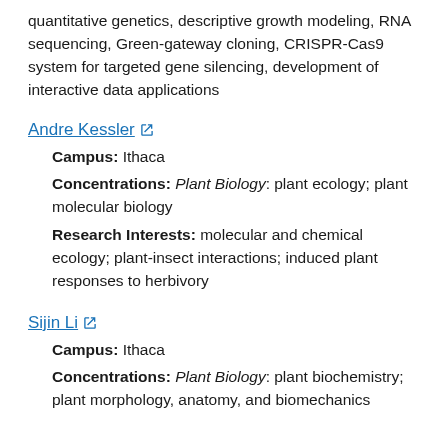quantitative genetics, descriptive growth modeling, RNA sequencing, Green-gateway cloning, CRISPR-Cas9 system for targeted gene silencing, development of interactive data applications
Andre Kessler [external link]
Campus: Ithaca
Concentrations: Plant Biology: plant ecology; plant molecular biology
Research Interests: molecular and chemical ecology; plant-insect interactions; induced plant responses to herbivory
Sijin Li [external link]
Campus: Ithaca
Concentrations: Plant Biology: plant biochemistry; plant morphology, anatomy, and biomechanics